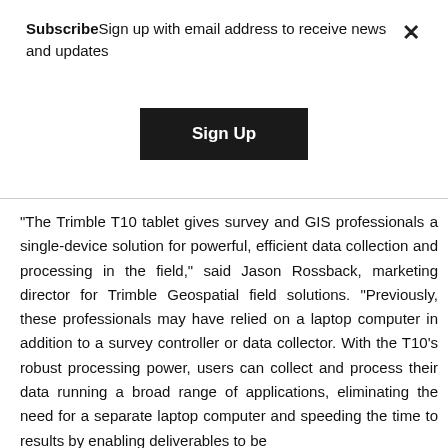SubscribeSign up with email address to receive news and updates
Sign Up
“The Trimble T10 tablet gives survey and GIS professionals a single-device solution for powerful, efficient data collection and processing in the field,” said Jason Rossback, marketing director for Trimble Geospatial field solutions. “Previously, these professionals may have relied on a laptop computer in addition to a survey controller or data collector. With the T10’s robust processing power, users can collect and process their data running a broad range of applications, eliminating the need for a separate laptop computer and speeding the time to results by enabling deliverables to be